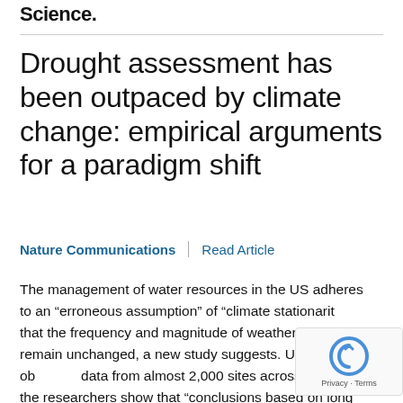Science.
Drought assessment has been outpaced by climate change: empirical arguments for a paradigm shift
Nature Communications | Read Article
The management of water resources in the US adheres to an “erroneous assumption” of “climate stationarity” that the frequency and magnitude of weather patterns remain unchanged, a new study suggests. Using observed data from almost 2,000 sites across the US, the researchers show that “conclusions based on long